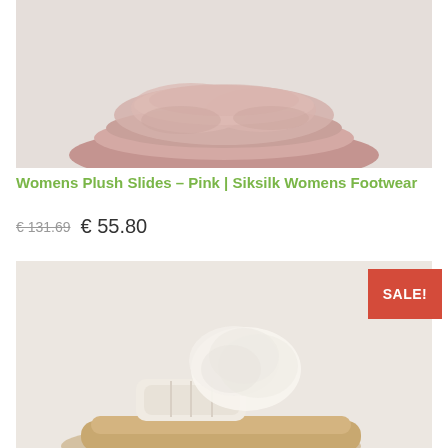[Figure (photo): Pink plush fuzzy slide sandal product photo on light grey background]
Womens Plush Slides – Pink | Siksilk Womens Footwear
€ 131.69  € 55.80
[Figure (photo): Beige/cream plush slide sandal with a SALE! badge in red at top right, product photo on light beige background]